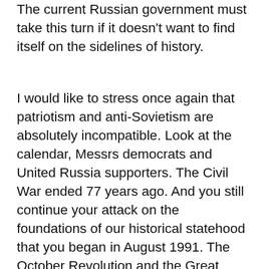The current Russian government must take this turn if it doesn't want to find itself on the sidelines of history.
I would like to stress once again that patriotism and anti-Sovietism are absolutely incompatible. Look at the calendar, Messrs democrats and United Russia supporters. The Civil War ended 77 years ago. And you still continue your attack on the foundations of our historical statehood that you began in August 1991. The October Revolution and the Great Victory in the Second World War had put Russia at the center of world politics securing its status of a world power. By contrast, your “perestroikas” and “reforms” reduced the country to the level of developing states. All that remains for you is to keep saying that the country was following a wrong path during the 70 years of Soviet government. We were following the right path: towards the summits